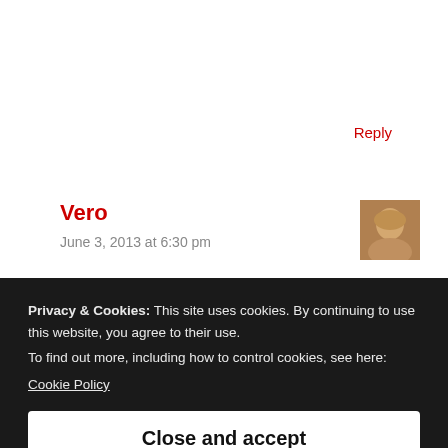Reply
Vero
June 3, 2013 at 6:30 pm
You’re certainly not alone with this problem, Jennifer. If I ever find a fool-proof way to get over this annoying need to overdo everything, I’ll blate it out with trumpets and tubas.
Privacy & Cookies: This site uses cookies. By continuing to use this website, you agree to their use.
To find out more, including how to control cookies, see here:
Cookie Policy
Close and accept
Mike Keyton